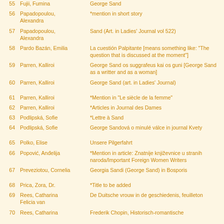| # | Author | Title |
| --- | --- | --- |
| 55 | Fujii, Fumina | George Sand |
| 56 | Papadopoulou, Alexandra | *mention in short story |
| 57 | Papadopoulou, Alexandra | Sand (Art. in Ladies' Journal vol 522) |
| 58 | Pardo Bazán, Emilia | La cuestión Palpitante [means something like: "The question that is discussed at the moment"] |
| 59 | Parren, Kalliroi | George Sand os suggrafeus kai os guni [George Sand as a writter and as a woman] |
| 60 | Parren, Kalliroi | George Sand (art. in Ladies' Journal) |
| 61 | Parren, Kalliroi | *Mention in "Le siècle de la femme" |
| 62 | Parren, Kalliroi | *Articles in Journal des Dames |
| 63 | Podlipská, Sofie | *Lettre à Sand |
| 64 | Podlipská, Sofie | George Sandová o minulé válce in journal Kvety |
| 65 | Polko, Elise | Unsere Pilgerfahrt |
| 66 | Popović, Anđelija | *Mention in article: Znatnije književnice u stranih naroda/Important Foreign Women Writers |
| 67 | Preveziotou, Cornelia | Georgia Sandi (George Sand) in Bosporis |
| 68 | Prica, Zora, Dr. | *Title to be added |
| 69 | Rees, Catharina Felicia van | De Duitsche vrouw in de geschiedenis, feuilleton |
| 70 | Rees, Catharina | Frederik Chopin, Historisch-romantische |